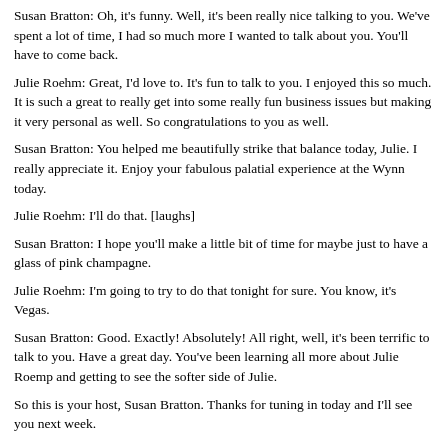Susan Bratton: Oh, it's funny. Well, it's been really nice talking to you. We've spent a lot of time, I had so much more I wanted to talk about you. You'll have to come back.
Julie Roehm: Great, I'd love to. It's fun to talk to you. I enjoyed this so much. It is such a great to really get into some really fun business issues but making it very personal as well. So congratulations to you as well.
Susan Bratton: You helped me beautifully strike that balance today, Julie. I really appreciate it. Enjoy your fabulous palatial experience at the Wynn today.
Julie Roehm: I'll do that. [laughs]
Susan Bratton: I hope you'll make a little bit of time for maybe just to have a glass of pink champagne.
Julie Roehm: I'm going to try to do that tonight for sure. You know, it's Vegas.
Susan Bratton: Good. Exactly! Absolutely! All right, well, it's been terrific to talk to you. Have a great day. You've been learning all more about Julie Roemp and getting to see the softer side of Julie.
So this is your host, Susan Bratton. Thanks for tuning in today and I'll see you next week.